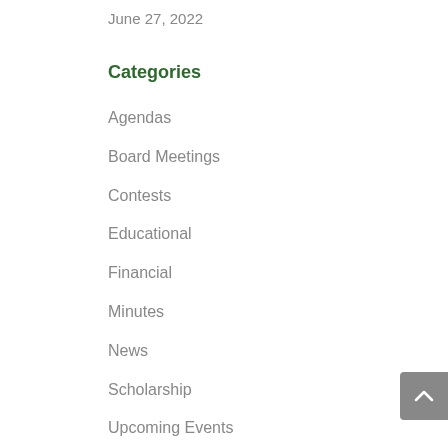June 27, 2022
Categories
Agendas
Board Meetings
Contests
Educational
Financial
Minutes
News
Scholarship
Upcoming Events
Workshops